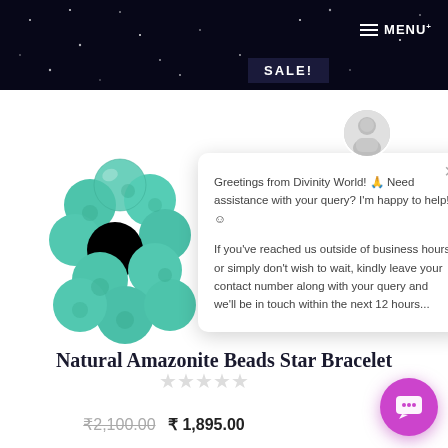MENU
SALE!
[Figure (photo): Turquoise/teal amazonite beads bracelet, multiple round beads scattered on white background]
Greetings from Divinity World! 🙏 Need assistance with your query? I'm happy to help! ☺

If you've reached us outside of business hours or simply don't wish to wait, kindly leave your contact number along with your query and we'll be in touch within the next 12 hours...
Natural Amazonite Beads Star Bracelet
★★★★★
₹2,100.00  ₹ 1,895.00